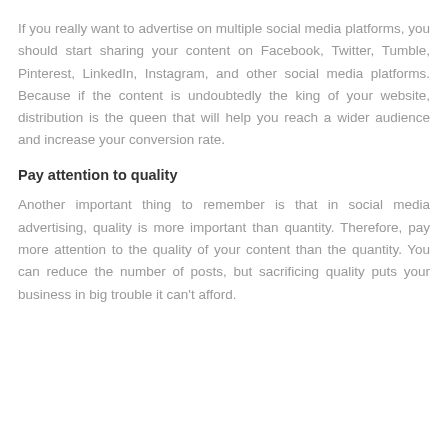If you really want to advertise on multiple social media platforms, you should start sharing your content on Facebook, Twitter, Tumble, Pinterest, LinkedIn, Instagram, and other social media platforms. Because if the content is undoubtedly the king of your website, distribution is the queen that will help you reach a wider audience and increase your conversion rate.
Pay attention to quality
Another important thing to remember is that in social media advertising, quality is more important than quantity. Therefore, pay more attention to the quality of your content than the quantity. You can reduce the number of posts, but sacrificing quality puts your business in big trouble it can't afford.